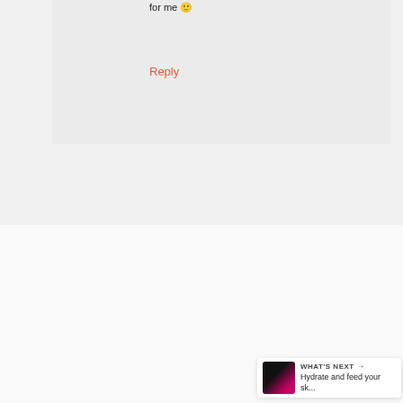for me 🙂
Reply
Hanny says
January 5, 2011 at 9:48 am
What a brilliant idea!! ^.^
Reply